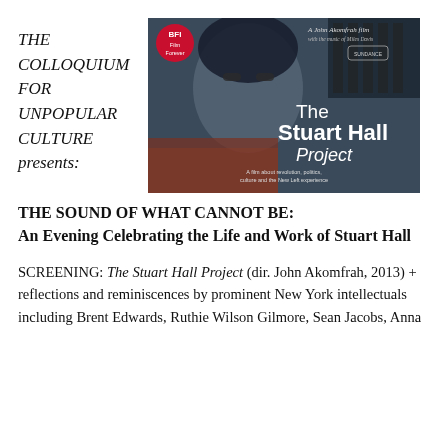THE COLLOQUIUM FOR UNPOPULAR CULTURE presents:
[Figure (photo): Movie poster for The Stuart Hall Project — a John Akomfrah film with the music of Miles Davis, showing a close-up of Stuart Hall's face with the film title overlaid, BFI Film Forever logo, and Sundance laurel. Tagline: A film about revolution, politics, culture and the New Left experience.]
THE SOUND OF WHAT CANNOT BE: An Evening Celebrating the Life and Work of Stuart Hall
SCREENING: The Stuart Hall Project (dir. John Akomfrah, 2013) + reflections and reminiscences by prominent New York intellectuals including Brent Edwards, Ruthie Wilson Gilmore, Sean Jacobs, Anna